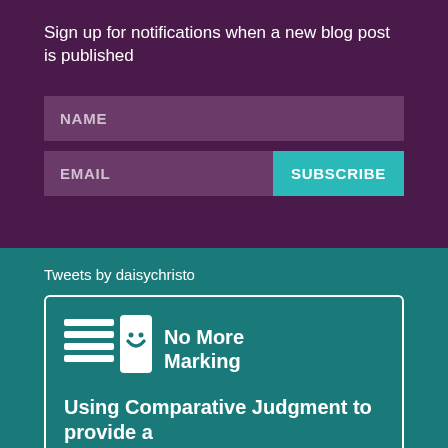Sign up for notifications when a new blog post is published
NAME
EMAIL
SUBSCRIBE
Tweets by daisychristo
[Figure (logo): No More Marking logo with stacked lines and book icon]
Using Comparative Judgment to provide a